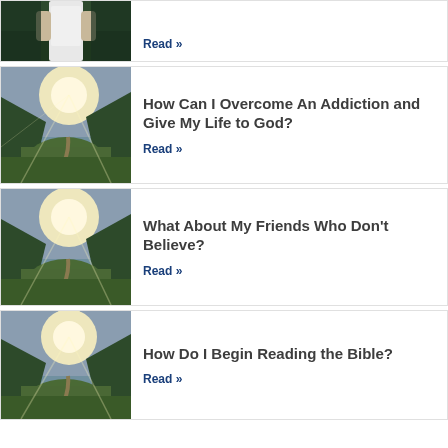[Figure (photo): Partial view of first article card showing a person in white shirt outdoors (top cropped)]
Read »
[Figure (photo): Mountain valley landscape with golden sunlight rays breaking through clouds over a winding path]
How Can I Overcome An Addiction and Give My Life to God?
Read »
[Figure (photo): Mountain valley landscape with golden sunlight rays breaking through clouds over a winding path]
What About My Friends Who Don't Believe?
Read »
[Figure (photo): Mountain valley landscape with golden sunlight rays breaking through clouds over a winding path]
How Do I Begin Reading the Bible?
Read »